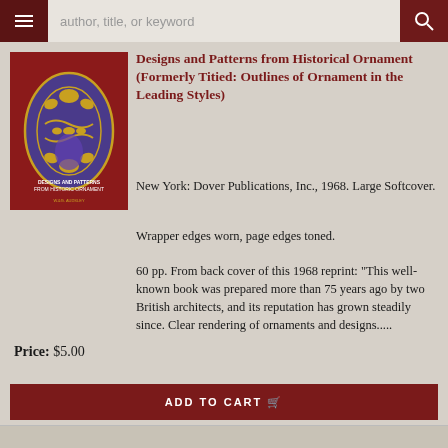author, title, or keyword
[Figure (photo): Book cover of 'Designs and Patterns from Historic Ornament' with purple and gold ornamental design on red background]
Designs and Patterns from Historical Ornament (Formerly Titied: Outlines of Ornament in the Leading Styles)
New York: Dover Publications, Inc., 1968. Large Softcover.
Wrapper edges worn, page edges toned.
60 pp. From back cover of this 1968 reprint: "This well-known book was prepared more than 75 years ago by two British architects, and its reputation has grown steadily since. Clear rendering of ornaments and designs.....
Price: $5.00
ADD TO CART